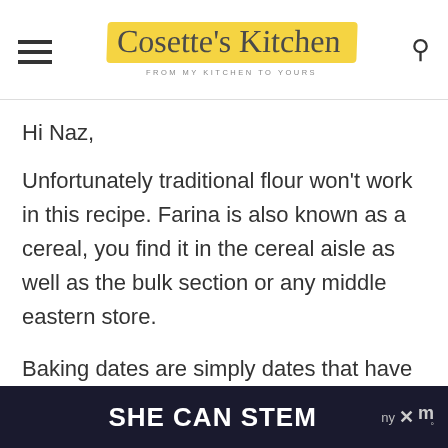Cosette's Kitchen — FROM MY KITCHEN TO YOURS
Hi Naz,
Unfortunately traditional flour won't work in this recipe. Farina is also known as a cereal, you find it in the cereal aisle as well as the bulk section or any middle eastern store.
Baking dates are simply dates that have been made into a
SHE CAN STEM